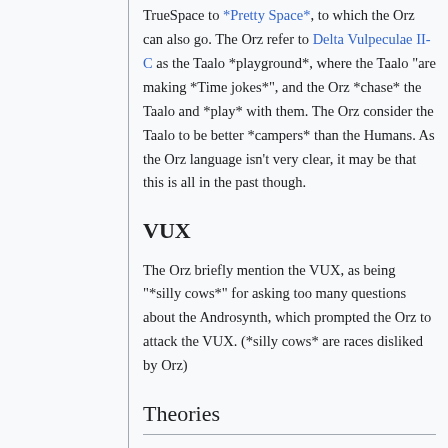TrueSpace to *Pretty Space*, to which the Orz can also go. The Orz refer to Delta Vulpeculae II-C as the Taalo *playground*, where the Taalo "are making *Time jokes*", and the Orz *chase* the Taalo and *play* with them. The Orz consider the Taalo to be better *campers* than the Humans. As the Orz language isn't very clear, it may be that this is all in the past though.
VUX
The Orz briefly mention the VUX, as being "*silly cows*" for asking too many questions about the Androsynth, which prompted the Orz to attack the VUX. (*silly cows* are races disliked by Orz)
Theories